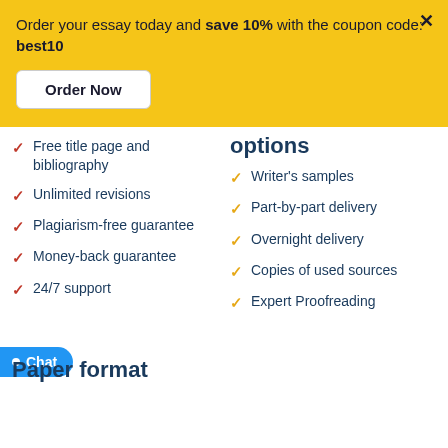Order your essay today and save 10% with the coupon code: best10
Free title page and bibliography
Unlimited revisions
Plagiarism-free guarantee
Money-back guarantee
24/7 support
options
Writer's samples
Part-by-part delivery
Overnight delivery
Copies of used sources
Expert Proofreading
Paper format